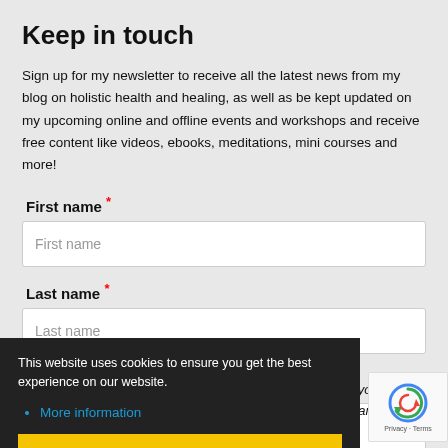Keep in touch
Sign up for my newsletter to receive all the latest news from my blog on holistic health and healing, as well as be kept updated on my upcoming online and offline events and workshops and receive free content like videos, ebooks, meditations, mini courses and more!
First name *
Last name *
This website uses cookies to ensure you get the best experience on our website.
More information
Accept!
hare your details ils at any time
Privacy · Terms
Your email